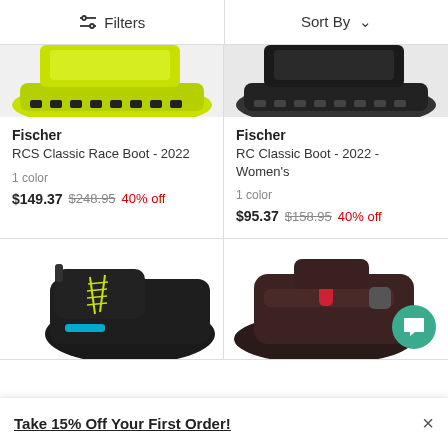Filters  Sort By
[Figure (photo): Top portion of a yellow/green cross-country ski boot sole]
Fischer
RCS Classic Race Boot - 2022
1 color
$149.37 $248.95 40% off
[Figure (photo): Top portion of a black cross-country ski boot sole]
Fischer
RC Classic Boot - 2022 - Women's
1 color
$95.37 $158.95 40% off
[Figure (photo): Dark/black cross-country ski boot with yellow-green laces and blue accent, lower portion visible]
[Figure (photo): Dark brown/maroon cross-country ski boot with red accent strap, lower portion visible]
Take 15% Off Your First Order!